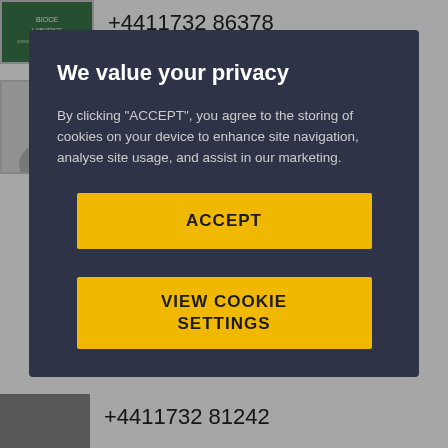+4411732 86378
Vicki Pearcy
Health & Safety Support Technician
[Figure (screenshot): Cookie consent modal overlay with dark background. Title: 'We value your privacy'. Body text about cookies. Two yellow buttons: ACCEPT and VIEW COOKIE SETTINGS.]
+4411732 81242